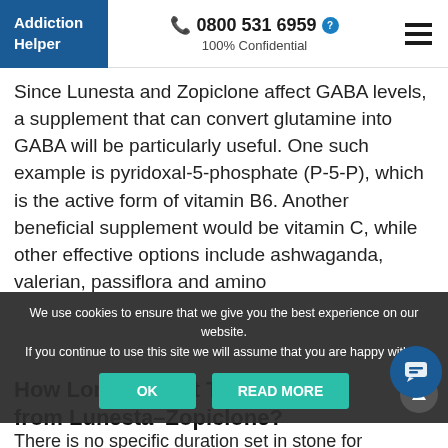Addiction Helper | 0800 531 6959 | 100% Confidential
Since Lunesta and Zopiclone affect GABA levels, a supplement that can convert glutamine into GABA will be particularly useful. One such example is pyridoxal-5-phosphate (P-5-P), which is the active form of vitamin B6. Another beneficial supplement would be vitamin C, while other effective options include ashwaganda, valerian, passiflora and amino
We use cookies to ensure that we give you the best experience on our website. If you continue to use this site we will assume that you are happy with it.
How Long Does It Take to Detox from Lunesta-Zopiclone?
There is no specific duration set in stone for